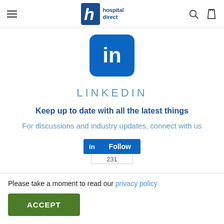hospital direct (navigation bar with hamburger menu, search, and bag icons)
[Figure (logo): LinkedIn rounded square icon with 'in' in white on blue background]
LINKEDIN
Keep up to date with all the latest things
For discussions and industry updates, connect with us
[Figure (other): LinkedIn Follow button widget showing 'in Follow' button and follower count 231]
Please take a moment to read our privacy policy
ACCEPT